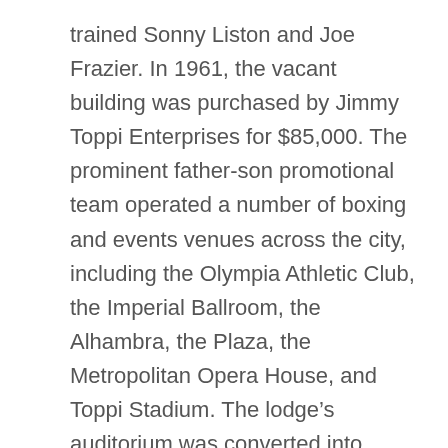trained Sonny Liston and Joe Frazier. In 1961, the vacant building was purchased by Jimmy Toppi Enterprises for $85,000. The prominent father-son promotional team operated a number of boxing and events venues across the city, including the Olympia Athletic Club, the Imperial Ballroom, the Alhambra, the Plaza, the Metropolitan Opera House, and Toppi Stadium. The lodge's auditorium was converted into “Toppi’s Auditorium”, although the name was shortlived as the venue was rechristened as the Blue Horizon, named it after the song “Beyond the Blue Horizon” from the 1930 film Monte Carlo.
Marty Kramer became the venue’s first house promoter. However, Steve Tomassi would stage the inaugural fight between Hall of Famer George Benton and Chico Corsey was held on November 3, 1961,